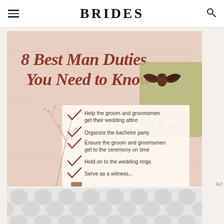BRIDES
[Figure (illustration): Illustrated infographic titled '8 Best Man Duties You Need to Know' on a pink background with a dark brown bow tie, greenish envelope, and a checklist card listing: Help the groom and groomsmen get their wedding attire; Organize the bachelor party; Ensure the groom and groomsmen get to the ceremony on time; Hold on to the wedding rings; Serve as a witness...]
[Figure (other): Advertisement banner with grey circle/dot pattern]